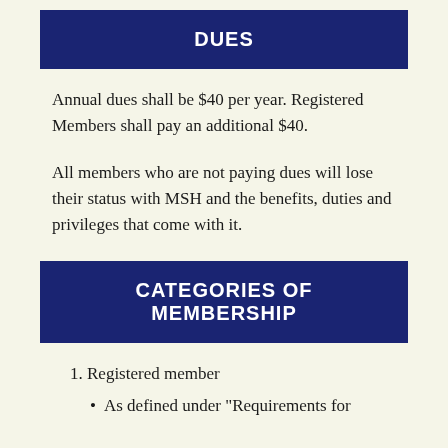DUES
Annual dues shall be $40 per year. Registered Members shall pay an additional $40.
All members who are not paying dues will lose their status with MSH and the benefits, duties and privileges that come with it.
CATEGORIES OF MEMBERSHIP
1. Registered member
As defined under "Requirements for